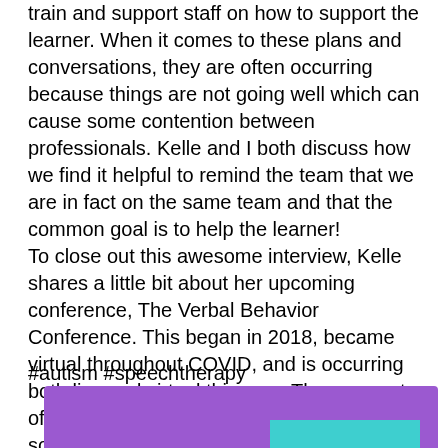train and support staff on how to support the learner. When it comes to these plans and conversations, they are often occurring because things are not going well which can cause some contention between professionals. Kelle and I both discuss how we find it helpful to remind the team that we are in fact on the same team and that the common goal is to help the learner!
To close out this awesome interview, Kelle shares a little bit about her upcoming conference, The Verbal Behavior Conference. This began in 2018, became virtual throughout COVID, and is occurring both live and virtual this year. There are a ton of great speakers and leaders in the field and so many trending topics on the billet.
#autism #speechtherapy
[Figure (illustration): Purple banner at the bottom of the page with a teal/cyan accent strip]